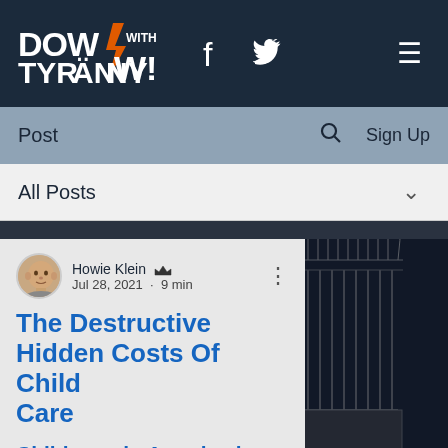Down With Tyranny! — navigation bar with logo, Facebook, Twitter icons, and hamburger menu
Post | Search | Sign Up
All Posts ∨
[Figure (photo): Author avatar photo of Howie Klein, a bald older man]
Howie Klein 👑 — Jul 28, 2021 · 9 min
The Destructive Hidden Costs Of Child Care
Child care in America is criminally overpriced